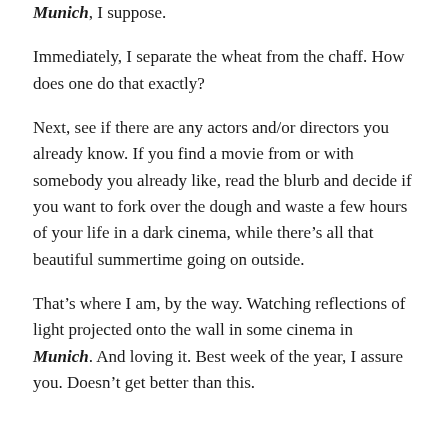Munich, I suppose.
Immediately, I separate the wheat from the chaff. How does one do that exactly?
Next, see if there are any actors and/or directors you already know. If you find a movie from or with somebody you already like, read the blurb and decide if you want to fork over the dough and waste a few hours of your life in a dark cinema, while there’s all that beautiful summertime going on outside.
That’s where I am, by the way. Watching reflections of light projected onto the wall in some cinema in Munich. And loving it. Best week of the year, I assure you. Doesn’t get better than this.